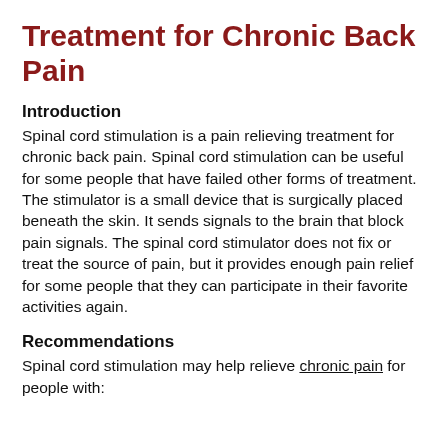Treatment for Chronic Back Pain
Introduction
Spinal cord stimulation is a pain relieving treatment for chronic back pain. Spinal cord stimulation can be useful for some people that have failed other forms of treatment. The stimulator is a small device that is surgically placed beneath the skin. It sends signals to the brain that block pain signals. The spinal cord stimulator does not fix or treat the source of pain, but it provides enough pain relief for some people that they can participate in their favorite activities again.
Recommendations
Spinal cord stimulation may help relieve chronic pain for people with: